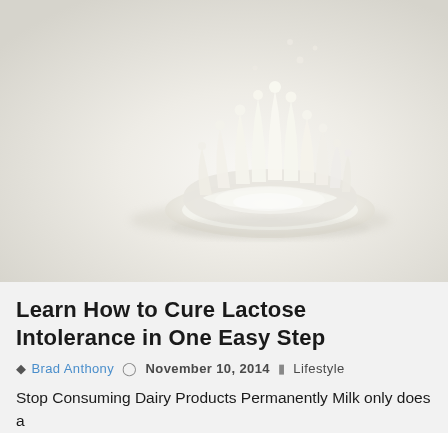[Figure (photo): A milk splash forming a crown shape on a white reflective surface, photographed from a slightly elevated angle. The milk crown has multiple pointed tips rising upward. Background is white/light grey, creating a high-key studio look.]
Learn How to Cure Lactose Intolerance in One Easy Step
Brad Anthony   November 10, 2014   Lifestyle
Stop Consuming Dairy Products Permanently Milk only does a